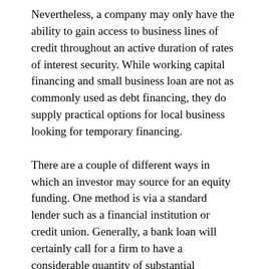Nevertheless, a company may only have the ability to gain access to business lines of credit throughout an active duration of rates of interest security. While working capital financing and small business loan are not as commonly used as debt financing, they do supply practical options for local business looking for temporary financing.
There are a couple of different ways in which an investor may source for an equity funding. One method is via a standard lender such as a financial institution or credit union. Generally, a bank loan will certainly call for a firm to have a considerable quantity of substantial possessions as collateral. An equity funding will require no collateral, yet there are some lending institutions that will certainly deal with companies that have security yet have an inadequate credit report. The financing regards to these equity funding purchases are generally fairly